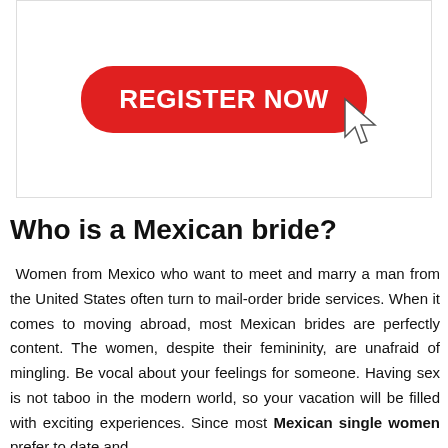[Figure (illustration): A red rounded rectangle button with white bold text reading 'REGISTER NOW' and a mouse cursor icon pointing at the button.]
Who is a Mexican bride?
Women from Mexico who want to meet and marry a man from the United States often turn to mail-order bride services. When it comes to moving abroad, most Mexican brides are perfectly content. The women, despite their femininity, are unafraid of mingling. Be vocal about your feelings for someone. Having sex is not taboo in the modern world, so your vacation will be filled with exciting experiences. Since most Mexican single women prefer to date and